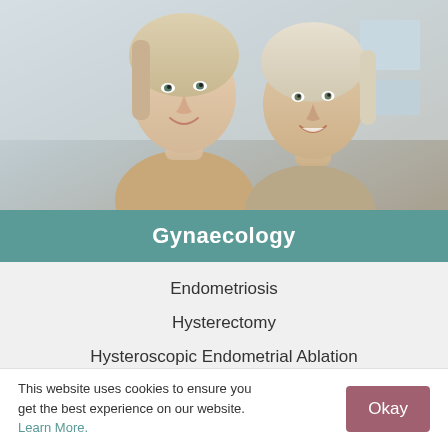[Figure (photo): Two smiling women, one younger with blonde hair and one older with light hair, posing together warmly against a light background.]
Gynaecology
Endometriosis
Hysterectomy
Hysteroscopic Endometrial Ablation
Hysteroscopy
Menopause
This website uses cookies to ensure you get the best experience on our website. Learn More.